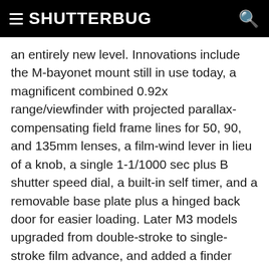SHUTTERBUG
an entirely new level. Innovations include the M-bayonet mount still in use today, a magnificent combined 0.92x range/viewfinder with projected parallax-compensating field frame lines for 50, 90, and 135mm lenses, a film-wind lever in lieu of a knob, a single 1-1/1000 sec plus B shutter speed dial, a built-in self timer, and a removable base plate plus a hinged back door for easier loading. Later M3 models upgraded from double-stroke to single-stroke film advance, and added a finder frame preview lever. Built to the highest standards of mechanical and optical excellence, the Leica M3 is widely regarded as the best interchangeable-lens rangefinder 35 ever made and I concur, especially